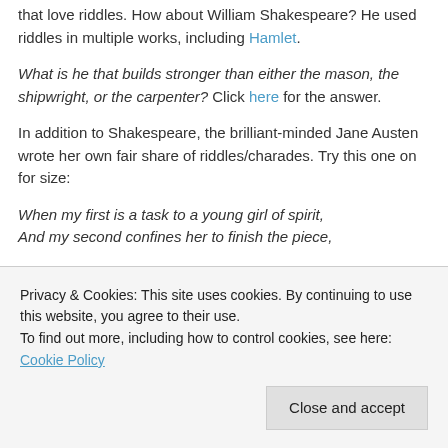that love riddles. How about William Shakespeare? He used riddles in multiple works, including Hamlet.
What is he that builds stronger than either the mason, the shipwright, or the carpenter? Click here for the answer.
In addition to Shakespeare, the brilliant-minded Jane Austen wrote her own fair share of riddles/charades. Try this one on for size:
When my first is a task to a young girl of spirit, And my second confines her to finish the piece,
Privacy & Cookies: This site uses cookies. By continuing to use this website, you agree to their use. To find out more, including how to control cookies, see here: Cookie Policy